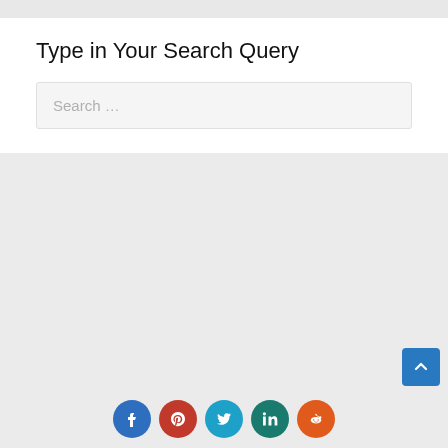Type in Your Search Query
[Figure (screenshot): Search input box with placeholder text 'Search ...']
[Figure (infographic): Social media share buttons: Facebook, Pinterest, Twitter, LinkedIn, Reddit]